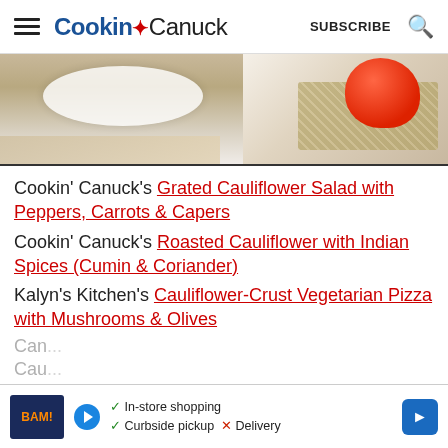Cookin' Canuck — SUBSCRIBE
[Figure (photo): Two food photos side by side: left shows a white bowl on a wooden cutting board, right shows a red tomato/pepper on burlap fabric]
Cookin' Canuck's Grated Cauliflower Salad with Peppers, Carrots & Capers
Cookin' Canuck's Roasted Cauliflower with Indian Spices (Cumin & Coriander)
Kalyn's Kitchen's Cauliflower-Crust Vegetarian Pizza with Mushrooms & Olives
[Figure (screenshot): Advertisement banner with BAM! logo, play button, checkmarks for In-store shopping, Curbside pickup, X for Delivery, and blue arrow button]